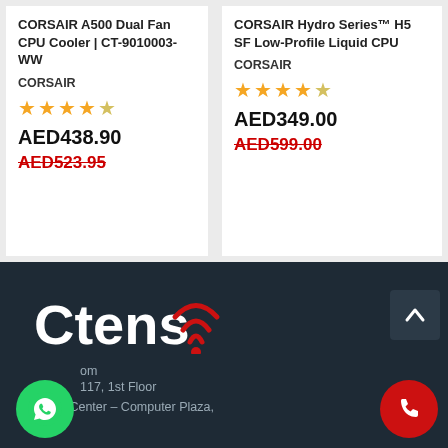CORSAIR A500 Dual Fan CPU Cooler | CT-9010003-WW
CORSAIR
★★★★★
AED438.90
AED523.95
CORSAIR Hydro Series™ H5 SF Low-Profile Liquid CPU
CORSAIR
★★★★★
AED349.00
AED599.00
[Figure (logo): Ctens logo with WiFi/signal icon in red, white text on dark background]
.om
117, 1st Floor
Al Ain Center – Computer Plaza,